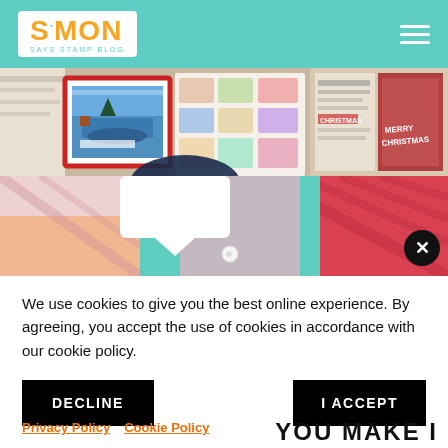Simon Says Stamp Blog - header with logo and navigation
[Figure (photo): Horizontal strip of Christmas-themed crafting cards and scrapbook materials including vintage Santa sleigh cards, holiday stickers, and decorative paper]
[Figure (photo): Horizontal strip of colorful patterned paper in pink, teal, orange and red with a white speech bubble shape]
We use cookies to give you the best online experience. By agreeing, you accept the use of cookies in accordance with our cookie policy.
DECLINE
I ACCEPT
Privacy Policy  Cookie Policy
YOU MAKE I